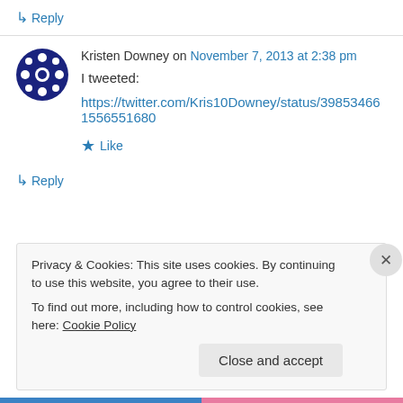↳ Reply
Kristen Downey on November 7, 2013 at 2:38 pm
I tweeted:
https://twitter.com/Kris10Downey/status/398534661556551680
★ Like
↳ Reply
Privacy & Cookies: This site uses cookies. By continuing to use this website, you agree to their use. To find out more, including how to control cookies, see here: Cookie Policy
Close and accept